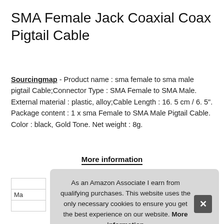SMA Female Jack Coaxial Coax Pigtail Cable
Sourcingmap - Product name : sma female to sma male pigtail Cable;Connector Type : SMA Female to SMA Male. External material : plastic, alloy;Cable Length : 16. 5 cm / 6. 5". Package content : 1 x sma Female to SMA Male Pigtail Cable. Color : black, Gold Tone. Net weight : 8g.
More information
As an Amazon Associate I earn from qualifying purchases. This website uses the only necessary cookies to ensure you get the best experience on our website. More information